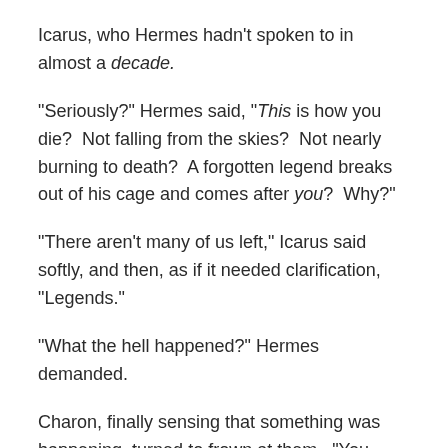Icarus, who Hermes hadn't spoken to in almost a decade.
“Seriously?” Hermes said, “This is how you die?  Not falling from the skies?  Not nearly burning to death?  A forgotten legend breaks out of his cage and comes after you?  Why?”
“There aren’t many of us left,” Icarus said softly, and then, as if it needed clarification, “Legends.”
“What the hell happened?” Hermes demanded.
Charon, finally sensing that something was happening, turned to frown at them.  “You know Icarus?” he asked, his scowling eyes on Hermes.